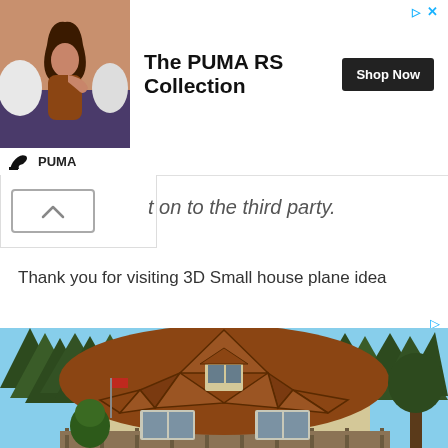[Figure (photo): PUMA RS Collection advertisement banner featuring a woman lying on a couch with pillows, brand logo, title 'The PUMA RS Collection', and 'Shop Now' button]
t on to the third party.
Thank you for visiting 3D Small house plane idea
[Figure (photo): Exterior photo of a geodesic dome house with triangular wooden shingle roof pattern, surrounded by tall evergreen trees, with a deck/railing in the foreground]